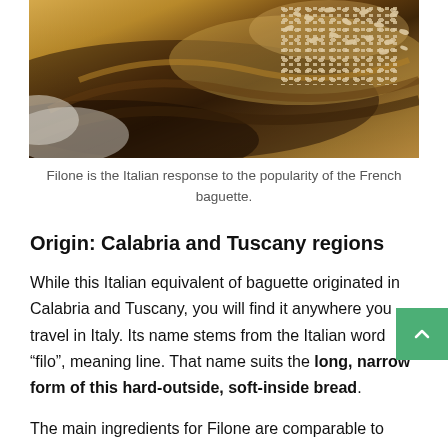[Figure (photo): Close-up photo of filone bread showing the crusty exterior with sesame seeds on a dark golden-brown crust, taken at an angle.]
Filone is the Italian response to the popularity of the French baguette.
Origin: Calabria and Tuscany regions
While this Italian equivalent of baguette originated in Calabria and Tuscany, you will find it anywhere you travel in Italy. Its name stems from the Italian word “filo”, meaning line. That name suits the long, narrow form of this hard-outside, soft-inside bread.
The main ingredients for Filone are comparable to those for baguettes: all-purpose flour, dry